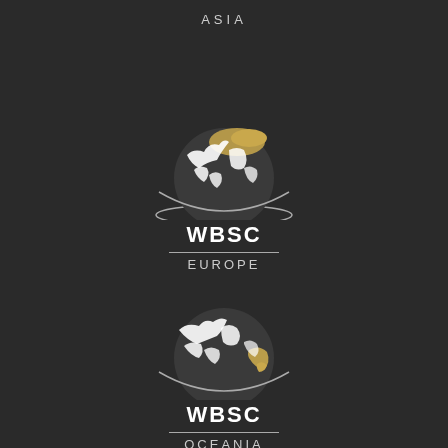ASIA
[Figure (logo): WBSC Europe logo: globe illustration (white and gold continents on dark background) above text WBSC with a horizontal divider line and EUROPE below]
[Figure (logo): WBSC Oceania logo: globe illustration (white continents with gold accent on dark background) above text WBSC with a horizontal divider line and OCEANIA below]